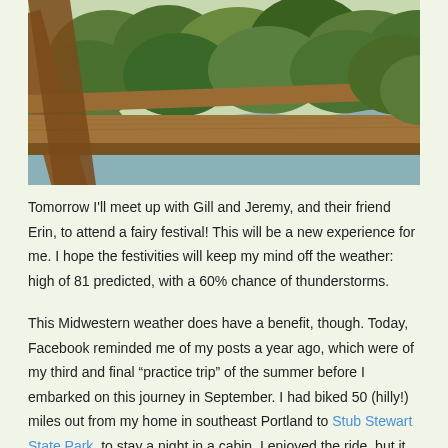[Figure (photo): View from a wooden bridge railing over a river, with lush green trees and vegetation on both banks. The railing is made of weathered brown wood. The river winds through the landscape in the background.]
Tomorrow I'll meet up with Gill and Jeremy, and their friend Erin, to attend a fairy festival! This will be a new experience for me. I hope the festivities will keep my mind off the weather: high of 81 predicted, with a 60% chance of thunderstorms.
This Midwestern weather does have a benefit, though. Today, Facebook reminded me of my posts a year ago, which were of my third and final "practice trip" of the summer before I embarked on this journey in September. I had biked 50 (hilly!) miles out from my home in southeast Portland to Stub Stewart State Park, to stay a night in a cabin. I enjoyed the ride, but it was also in 90-degree